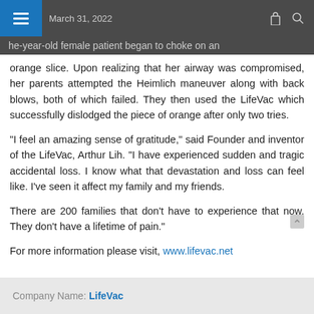March 31, 2022
he-year-old female patient began to choke on an orange slice. Upon realizing that her airway was compromised, her parents attempted the Heimlich maneuver along with back blows, both of which failed. They then used the LifeVac which successfully dislodged the piece of orange after only two tries.
"I feel an amazing sense of gratitude," said Founder and inventor of the LifeVac, Arthur Lih. "I have experienced sudden and tragic accidental loss. I know what that devastation and loss can feel like. I've seen it affect my family and my friends.
There are 200 families that don't have to experience that now. They don't have a lifetime of pain."
For more information please visit, www.lifevac.net
Company Name: LifeVac